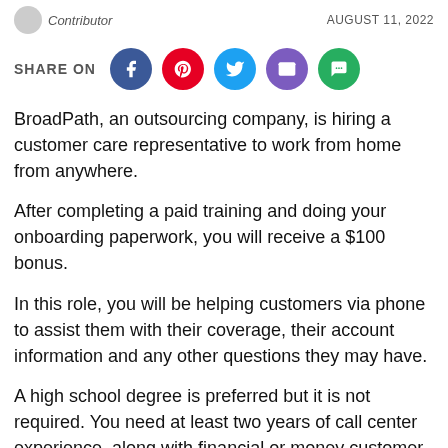Contributor   AUGUST 11, 2022
SHARE ON
BroadPath, an outsourcing company, is hiring a customer care representative to work from home from anywhere.
After completing a paid training and doing your onboarding paperwork, you will receive a $100 bonus.
In this role, you will be helping customers via phone to assist them with their coverage, their account information and any other questions they may have.
A high school degree is preferred but it is not required. You need at least two years of call center experience, along with financial or money customer service experience.
Benefits include access to medical plans starting 60 days